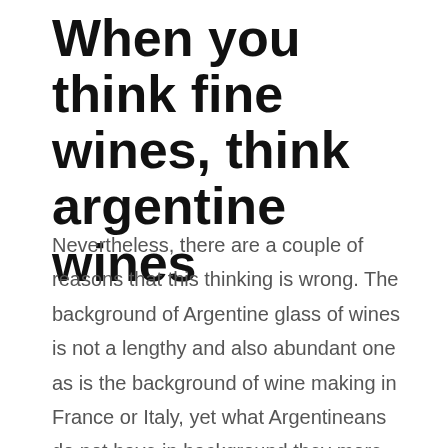When you think fine wines, think argentine wines
Nevertheless, there are a couple of reasons that this thinking is wrong. The background of Argentine glass of wines is not a lengthy and also abundant one as is the background of wine making in France or Italy, yet what Argentineans do not have in background they more than offset in quality. The dirt of Argentina is rich and also well took care of the